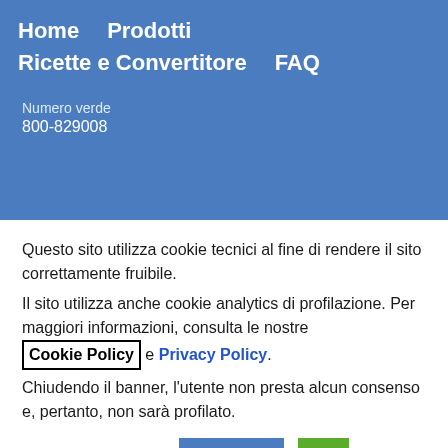Home  Prodotti  Ricette e Convertitore  FAQ
Numero verde
800-829008
Questo sito utilizza cookie tecnici al fine di rendere il sito correttamente fruibile.
Il sito utilizza anche cookie analytics di profilazione. Per maggiori informazioni, consulta le nostre Cookie Policy e Privacy Policy.
Chiudendo il banner, l'utente non presta alcun consenso e, pertanto, non sarà profilato.
Impostazioni Cookies  Accetta  X